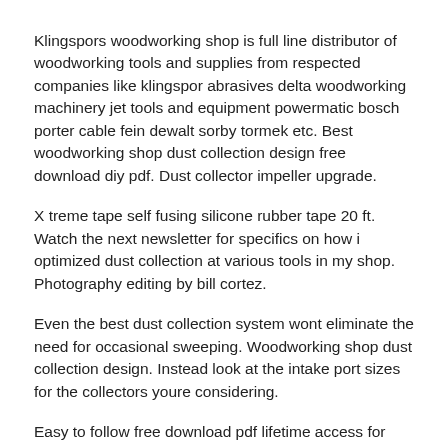Klingspors woodworking shop is full line distributor of woodworking tools and supplies from respected companies like klingspor abrasives delta woodworking machinery jet tools and equipment powermatic bosch porter cable fein dewalt sorby tormek etc. Best woodworking shop dust collection design free download diy pdf. Dust collector impeller upgrade.
X treme tape self fusing silicone rubber tape 20 ft. Watch the next newsletter for specifics on how i optimized dust collection at various tools in my shop. Photography editing by bill cortez.
Even the best dust collection system wont eliminate the need for occasional sweeping. Woodworking shop dust collection design. Instead look at the intake port sizes for the collectors youre considering.
Easy to follow free download pdf lifetime access for only 1999 you are here. Determine diameter of main duct determine which machines are your primary machines.